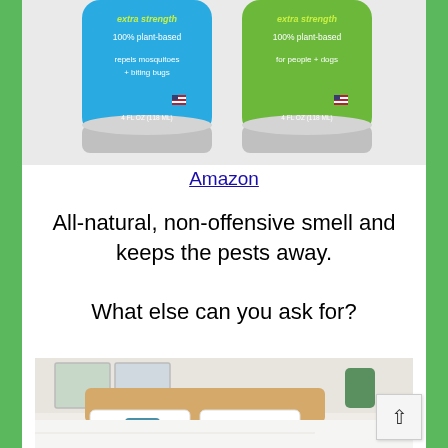[Figure (photo): Two spray bottles of plant-based insect repellent. Left bottle is blue labeled 'extra strength, 100% plant-based, repels mosquitoes + biting bugs, 4 FL OZ (118 ML)'. Right bottle is green labeled 'extra strength, 100% plant-based, for people + dogs, 4 FL OZ (118 ML)'.]
Amazon
All-natural, non-offensive smell and keeps the pests away.

What else can you ask for?
[Figure (photo): A bedroom with white bedding, white pillows, a wooden headboard, and a plant on a side table.]